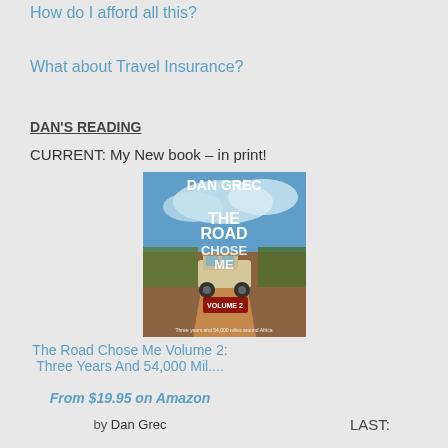How do I afford all this?
What about Travel Insurance?
DAN'S READING
CURRENT: My New book – in print!
[Figure (photo): Book cover of 'The Road Chose Me Volume 2' by Dan Grec, showing a 4x4 vehicle on a red dirt road in Africa with blue sky]
The Road Chose Me Volume 2: Three Years And 54,000 Mil....
From $19.95 on Amazon
by Dan Grec
LAST: